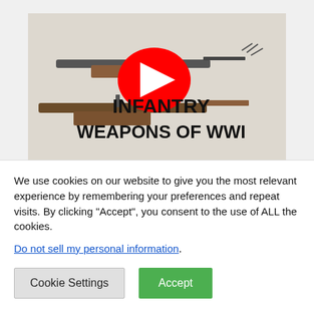[Figure (screenshot): YouTube video thumbnail showing Infantry Weapons of WWI with illustrated guns and YouTube play button]
[Figure (infographic): Social share buttons: Facebook (blue), Twitter (light blue), Email (dark), LinkedIn (dark blue), Telegram (teal), Pinterest (red)]
« What are the atrial and ventricular
Como treinar costas com a
We use cookies on our website to give you the most relevant experience by remembering your preferences and repeat visits. By clicking "Accept", you consent to the use of ALL the cookies.
Do not sell my personal information.